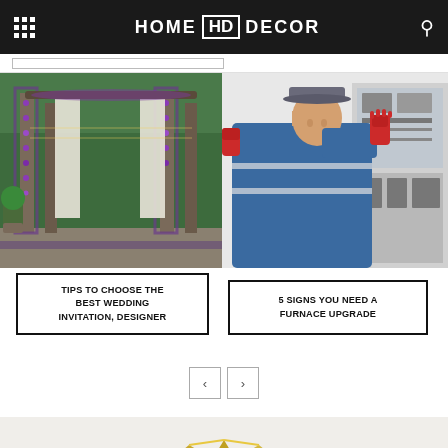HOME HD DECOR
[Figure (photo): Wedding decoration with floral archways, white curtains, and string lights outdoors]
TIPS TO CHOOSE THE BEST WEDDING INVITATION, DESIGNER
[Figure (photo): Technician in blue uniform and red gloves working on a furnace or HVAC unit]
5 SIGNS YOU NEED A FURNACE UPGRADE
[Figure (logo): Home decor logo with golden house/roof icon at the bottom of the page]